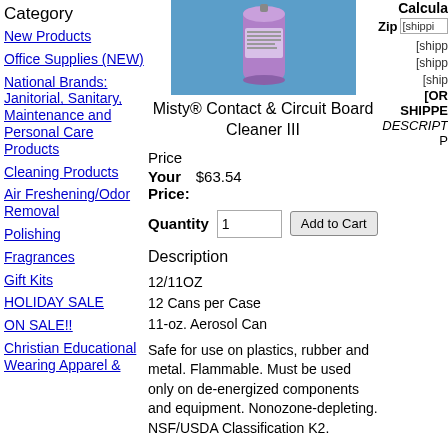Category
New Products
Office Supplies (NEW)
National Brands: Janitorial, Sanitary, Maintenance and Personal Care Products
Cleaning Products
Air Freshening/Odor Removal
Polishing
Fragrances
Gift Kits
HOLIDAY SALE
ON SALE!!
Christian Educational Wearing Apparel &
[Figure (photo): Product photo of Misty Contact & Circuit Board Cleaner III aerosol can on blue background]
Misty® Contact & Circuit Board Cleaner III
Price
Your Price: $63.54
Quantity 1  Add to Cart
Description
12/11OZ
12 Cans per Case
11-oz. Aerosol Can
Safe for use on plastics, rubber and metal. Flammable. Must be used only on de-energized components and equipment. Nonozone-depleting. NSF/USDA Classification K2.
Calcula... Zip [shipping... [shipp... [ship... [OR SHIPPED DESCRIPTION P...